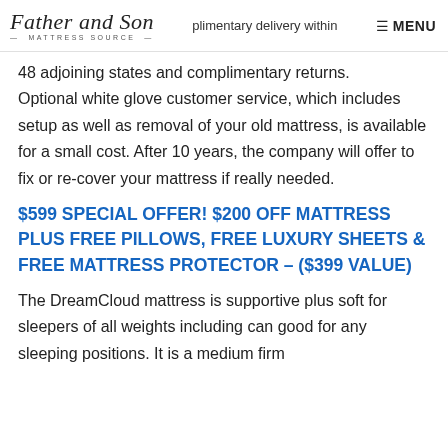Father and Son MATTRESS SOURCE — plimentary delivery within ☰ MENU
48 adjoining states and complimentary returns. Optional white glove customer service, which includes setup as well as removal of your old mattress, is available for a small cost. After 10 years, the company will offer to fix or re-cover your mattress if really needed.
$599 SPECIAL OFFER! $200 OFF MATTRESS PLUS FREE PILLOWS, FREE LUXURY SHEETS & FREE MATTRESS PROTECTOR – ($399 VALUE)
The DreamCloud mattress is supportive plus soft for sleepers of all weights including can good for any sleeping positions. It is a medium firm